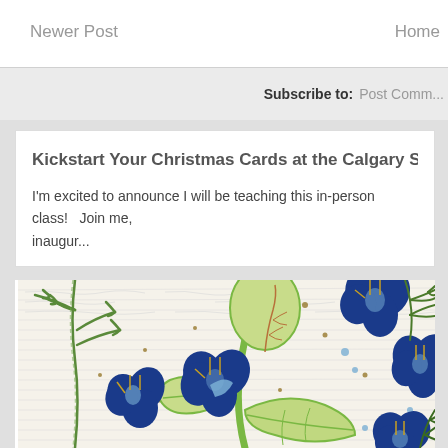Newer Post   Home
Subscribe to: Post Comm...
Kickstart Your Christmas Cards at the Calgary Scrapagan...
I'm excited to announce I will be teaching this in-person class!   Join me, inaugur...
[Figure (illustration): Floral illustration with blue flowers, green leaves and stems on a handwritten text background]